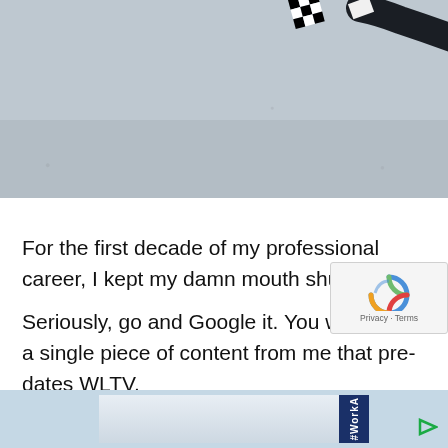[Figure (photo): Man in black suit with arm outstretched pointing, holding a checkered flag or pixelated object, against a light grey/white background]
For the first decade of my professional career, I kept my damn mouth shut.
Seriously, go and Google it. You won't find a single piece of content from me that pre-dates WLTV.
So what the hell was I doing?
I was working.
[Figure (other): Advertisement banner at bottom of page with #WorkA hashtag visible, light blue background]